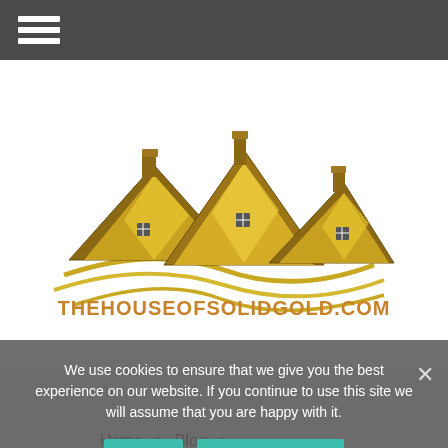Navigation bar with hamburger menu icon
[Figure (logo): The House of Solid Gold logo — gold rooftop house illustration above the text THEHOUSEOFSOLIDGOLD.COM in gold lettering]
[Figure (other): Gold hamburger/menu icon (three horizontal gold lines)]
Home > Blog >
... Is a 2007 Chevy Cobalt a sports car?
We use cookies to ensure that we give you the best experience on our website. If you continue to use this site we will assume that you are happy with it.
Ok   Privacy policy